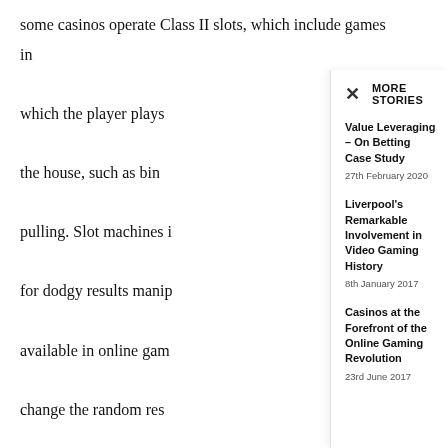some casinos operate Class II slots, which include games in which the player plays the house, such as bingo pulling. Slot machines for dodgy results manipulation available in online gaming change the random results You may know that 15% casinos do not want you player. Slot machines machines work against bet on a slot machine winning more than you lose. .
MORE STORIES
Value Leveraging – On Betting Case Study
27th February 2020
Liverpool's Remarkable Involvement in Video Gaming History
8th January 2017
Casinos at the Forefront of the Online Gaming Revolution
23rd June 2017